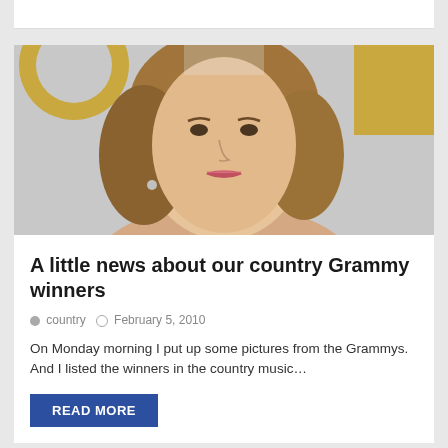[Figure (photo): Portrait photo of a young woman with curly blonde-brown hair at what appears to be a Grammy awards event, with gold Grammy logos visible in the background]
A little news about our country Grammy winners
country   February 5, 2010
On Monday morning I put up some pictures from the Grammys. And I listed the winners in the country music…
READ MORE